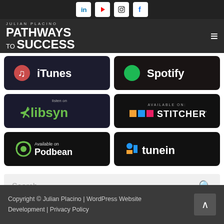Julian Placino - Pathways to Success - Social icons: LinkedIn, YouTube, Instagram, Facebook
[Figure (logo): Pathways to Success podcast logo with Julian Placino branding and navigation bar with hamburger menu]
[Figure (infographic): Podcast platform badges: iTunes, Spotify, Libsyn, Stitcher, Podbean, TuneIn]
Search ...
Copyright © Julian Placino | WordPress Website Development | Privacy Policy